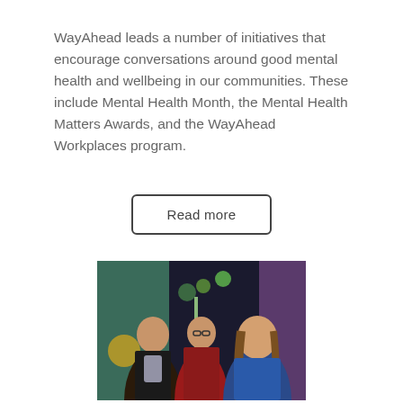WayAhead leads a number of initiatives that encourage conversations around good mental health and wellbeing in our communities. These include Mental Health Month, the Mental Health Matters Awards, and the WayAhead Workplaces program.
Read more
[Figure (photo): Three women standing together in front of a colourful mural with trees and abstract patterns. The woman on the left wears a black jacket with a scarf, the middle woman wears a red patterned top and glasses, and the woman on the right wears a blue top.]